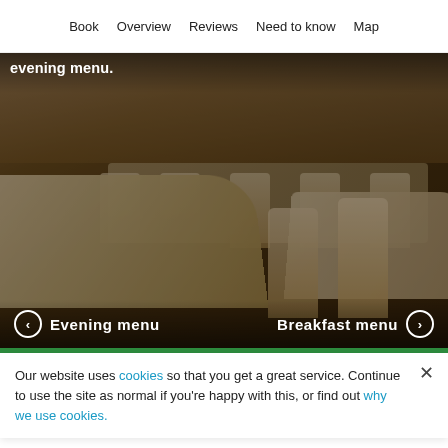Book   Overview   Reviews   Need to know   Map
[Figure (photo): Interior of a hostel/restaurant dining area with white tables and wooden chairs, dark overlay. Shows 'evening menu.' text at top and navigation arrows for 'Evening menu' and 'Breakfast menu' at the bottom.]
Our website uses cookies so that you get a great service. Continue to use the site as normal if you're happy with this, or find out why we use cookies.
Things to do around YHA